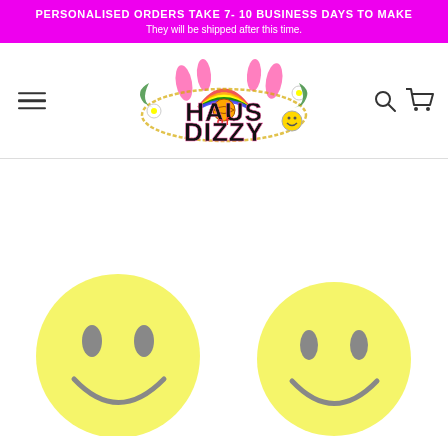PERSONALISED ORDERS TAKE 7- 10 BUSINESS DAYS TO MAKE. They will be shipped after this time.
[Figure (logo): Haus of Dizzy decorative logo with rainbow, flames, flowers, gold chain, smiley face, and colorful typography]
[Figure (photo): Two yellow smiley face earrings (studs) shown on white background, side by side]